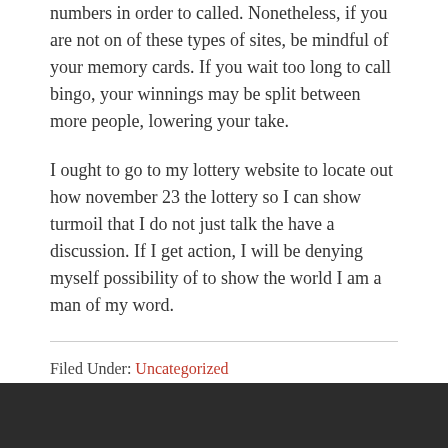numbers in order to called. Nonetheless, if you are not on of these types of sites, be mindful of your memory cards. If you wait too long to call bingo, your winnings may be split between more people, lowering your take.
I ought to go to my lottery website to locate out how november 23 the lottery so I can show turmoil that I do not just talk the have a discussion. If I get action, I will be denying myself possibility of to show the world I am a man of my word.
Filed Under: Uncategorized